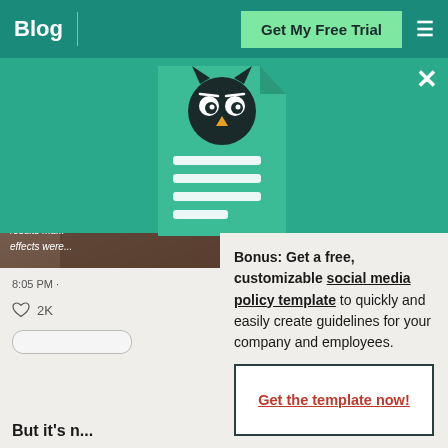Blog | Get My Free Trial
[Figure (screenshot): Video thumbnail showing a woman, with a blue play button circle overlay and Nurtec OD text at bottom left]
Nurtec® OD preventive t... results ma... effects were...
8:05 PM ·
2K
[Figure (infographic): Hootsuite popup modal with teal banner, owl logo on document icon, close X button, and CTA text about social media policy template]
Bonus: Get a free, customizable social media policy template to quickly and easily create guidelines for your company and employees.
Get the template now!
But it's n...